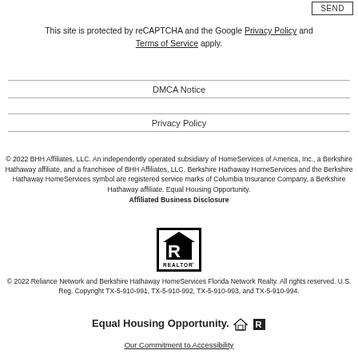SEND
This site is protected by reCAPTCHA and the Google Privacy Policy and Terms of Service apply.
DMCA Notice
Privacy Policy
© 2022 BHH Affiliates, LLC. An independently operated subsidiary of HomeServices of America, Inc., a Berkshire Hathaway affiliate, and a franchisee of BHH Affiliates, LLC. Berkshire Hathaway HomeServices and the Berkshire Hathaway HomeServices symbol are registered service marks of Columbia Insurance Company, a Berkshire Hathaway affiliate. Equal Housing Opportunity.
Affiliated Business Disclosure
[Figure (logo): REALTOR logo — black square with white R in a house outline and REALTOR text below]
© 2022 Reliance Network and Berkshire Hathaway HomeServices Florida Network Realty. All rights reserved. U.S. Reg. Copyright TX-5-910-991, TX-5-910-992, TX-5-910-993, and TX-5-910-994.
Equal Housing Opportunity. [house icon] [realtor icon]
Our Commitment to Accessibility